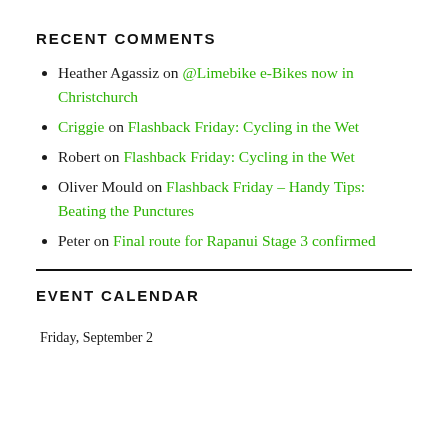RECENT COMMENTS
Heather Agassiz on @Limebike e-Bikes now in Christchurch
Criggie on Flashback Friday: Cycling in the Wet
Robert on Flashback Friday: Cycling in the Wet
Oliver Mould on Flashback Friday – Handy Tips: Beating the Punctures
Peter on Final route for Rapanui Stage 3 confirmed
EVENT CALENDAR
Friday, September 2